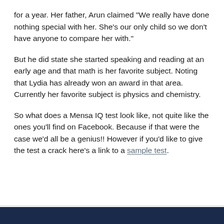for a year. Her father, Arun claimed "We really have done nothing special with her. She's our only child so we don't have anyone to compare her with."
But he did state she started speaking and reading at an early age and that math is her favorite subject. Noting that Lydia has already won an award in that area. Currently her favorite subject is physics and chemistry.
So what does a Mensa IQ test look like, not quite like the ones you'll find on Facebook. Because if that were the case we'd all be a genius!! However if you'd like to give the test a crack here's a link to a sample test.